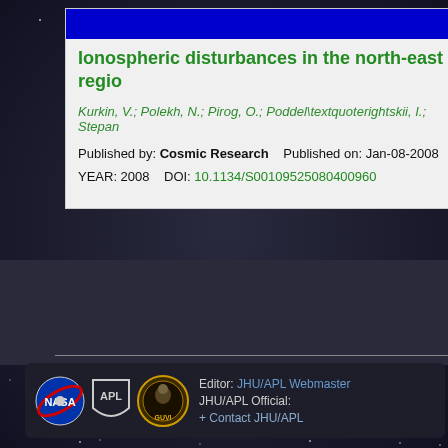Ionospheric disturbances in the north-east regio
Kurkin, V.; Polekh, N.; Pirog, O.; Poddel\textquoterightskii, I.; Stepan
Published by: Cosmic Research    Published on: Jan-08-2008
YEAR: 2008    DOI: 10.1134/S00109525080400960
Editor: JHU/APL Webmaster  JHU/APL Official:  + Contact JHU/APL